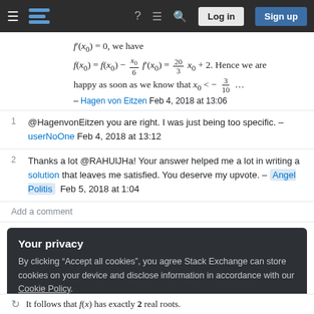Stack Exchange navigation bar with login and sign up buttons
– Hagen von Eitzen Feb 4, 2018 at 13:06
@HagenvonEitzen you are right. I was just being too specific. – userNoOne Feb 4, 2018 at 13:12
Thanks a lot @RAHUlJHa! Your answer helped me a lot in writing a solution that leaves me satisfied. You deserve my upvote. – Angel Politis Feb 5, 2018 at 1:04
Add a comment
Your privacy
By clicking "Accept all cookies", you agree Stack Exchange can store cookies on your device and disclose information in accordance with our Cookie Policy.
It follows that f(x) has exactly 2 real roots.